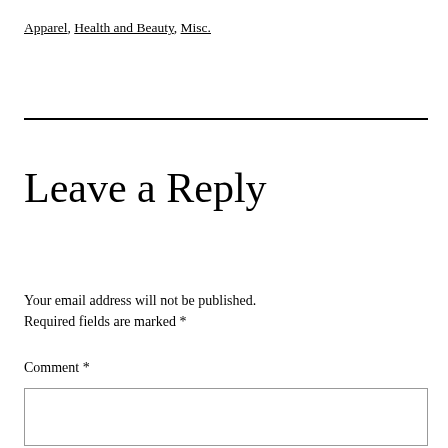Apparel, Health and Beauty, Misc.
Leave a Reply
Your email address will not be published. Required fields are marked *
Comment *